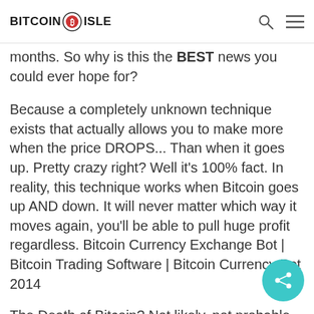BITCOIN ISLE
months. So why is this the BEST news you could ever hope for?
Because a completely unknown technique exists that actually allows you to make more when the price DROPS... Than when it goes up. Pretty crazy right? Well it's 100% fact. In reality, this technique works when Bitcoin goes up AND down. It will never matter which way it moves again, you'll be able to pull huge profit regardless. Bitcoin Currency Exchange Bot | Bitcoin Trading Software | Bitcoin Currency Bot 2014
The Death of Bitcoin? Not likely, not probable, not even close to realistic. In fact, Bitcoin is poised to make its biggest